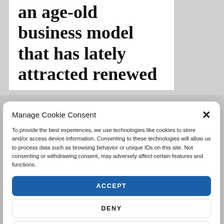an age-old business model that has lately attracted renewed
Manage Cookie Consent
To provide the best experiences, we use technologies like cookies to store and/or access device information. Consenting to these technologies will allow us to process data such as browsing behavior or unique IDs on this site. Not consenting or withdrawing consent, may adversely affect certain features and functions.
ACCEPT
DENY
VIEW PREFERENCES
Cookie Policy  Cookie Policy